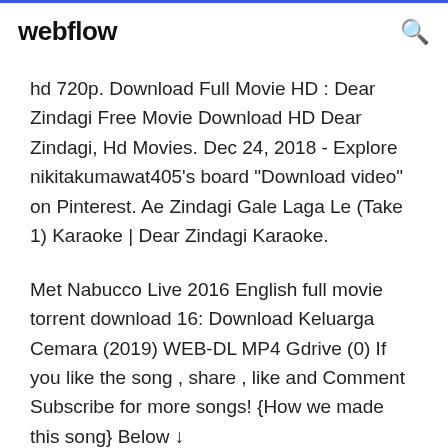webflow
hd 720p. Download Full Movie HD : Dear Zindagi Free Movie Download HD Dear Zindagi, Hd Movies. Dec 24, 2018 - Explore nikitakumawat405's board "Download video" on Pinterest. Ae Zindagi Gale Laga Le (Take 1) Karaoke | Dear Zindagi Karaoke.
Met Nabucco Live 2016 English full movie torrent download 16: Download Keluarga Cemara (2019) WEB-DL MP4 Gdrive (0) If you like the song , share , like and Comment Subscribe for more songs! {How we made this song} Below ↓ ___________...__________ Download HQ Mp3 ( FREE ) : 1. ( jackloveonthebeat ) - http//...